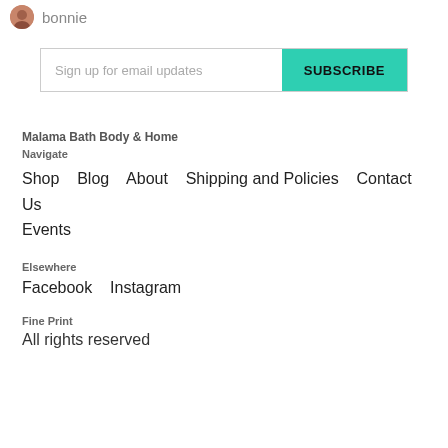bonnie
Sign up for email updates
SUBSCRIBE
Malama Bath Body & Home
Navigate
Shop   Blog   About   Shipping and Policies   Contact Us   Events
Elsewhere
Facebook   Instagram
Fine Print
All rights reserved